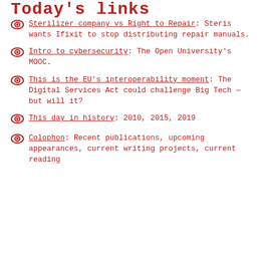Today's links
Sterilizer company vs Right to Repair: Steris wants Ifixit to stop distributing repair manuals.
Intro to cybersecurity: The Open University's MOOC.
This is the EU's interoperability moment: The Digital Services Act could challenge Big Tech — but will it?
This day in history: 2010, 2015, 2019
Colophon: Recent publications, upcoming appearances, current writing projects, current reading